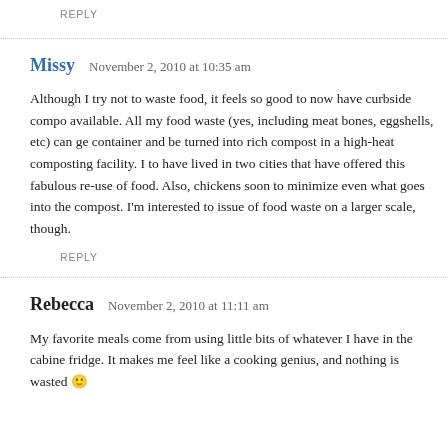REPLY
Missy   November 2, 2010 at 10:35 am
Although I try not to waste food, it feels so good to now have curbside compo- available. All my food waste (yes, including meat bones, eggshells, etc) can ge- container and be turned into rich compost in a high-heat composting facility. I to have lived in two cities that have offered this fabulous re-use of food. Also, chickens soon to minimize even what goes into the compost. I'm interested to issue of food waste on a larger scale, though.
REPLY
Rebecca   November 2, 2010 at 11:11 am
My favorite meals come from using little bits of whatever I have in the cabine- fridge. It makes me feel like a cooking genius, and nothing is wasted 🙂